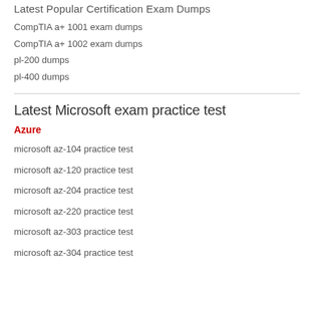Latest Popular Certification Exam Dumps
CompTIA a+ 1001 exam dumps
CompTIA a+ 1002 exam dumps
pl-200 dumps
pl-400 dumps
Latest Microsoft exam practice test
Azure
microsoft az-104 practice test
microsoft az-120 practice test
microsoft az-204 practice test
microsoft az-220 practice test
microsoft az-303 practice test
microsoft az-304 practice test